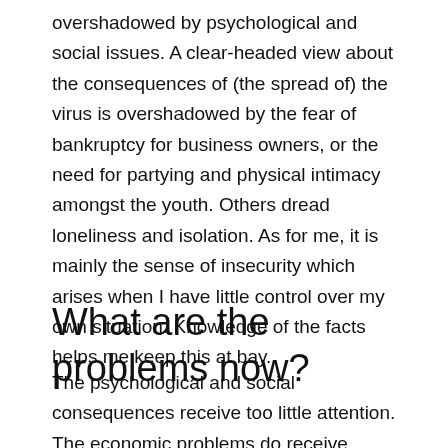overshadowed by psychological and social issues. A clear-headed view about the consequences of (the spread of) the virus is overshadowed by the fear of bankruptcy for business owners, or the need for partying and physical intimacy amongst the youth. Others dread loneliness and isolation. As for me, it is mainly the sense of insecurity which arises when I have little control over my own situation. Knowledge of the facts helps me keep this at bay.
What are the problems now?
The psychological and social consequences receive too little attention. The economic problems do receive attention, but the Dutch authorities do not clarify how they intend to...